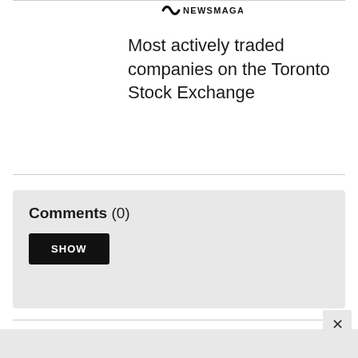NEWSMAGAZINE
Most actively traded companies on the Toronto Stock Exchange
Comments (0)
SHOW